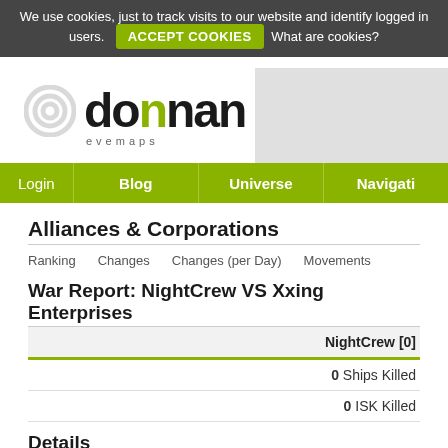We use cookies, just to track visits to our website and identify logged in users. ACCEPT COOKIES What are cookies?
[Figure (logo): Dotlan evemaps logo with stylized circular arc graphic]
Login | Blog | Universe | Navigati...
Alliances & Corporations
Ranking   Changes   Changes (per Day)   Movements
War Report: NightCrew VS Xxing Enterprises
| NightCrew [0] |
| --- |
| 0 Ships Killed |
| 0 ISK Killed |
Details
| Declared | Started |
| --- | --- |
| 2008-05-18 22:07:00 | 2008-05-19 22:07:00 |